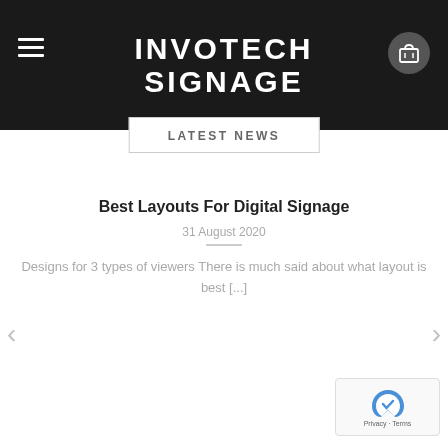INVOTECH SIGNAGE
LATEST NEWS
Best Layouts For Digital Signage
31 August 2020
Designs for 3 types of viewers There is much said about what layout is best [...]
[Figure (logo): reCAPTCHA badge with Privacy and Terms links]